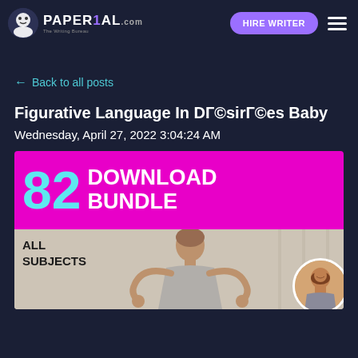PAPER1AL.com | HIRE WRITER
← Back to all posts
Figurative Language In DГ©sirГ©es Baby
Wednesday, April 27, 2022 3:04:24 AM
[Figure (infographic): Banner showing '82 DOWNLOAD BUNDLE ALL SUBJECTS' with a woman meditating in the lower section, and a circular avatar at bottom right]
ALL SUBJECTS